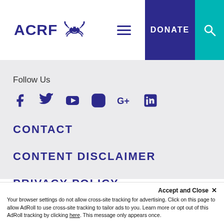[Figure (logo): ACRF logo with crab icon and hamburger menu, DONATE button and search icon]
Follow Us
[Figure (infographic): Social media icons: Facebook, Twitter, YouTube, Instagram, Google+, LinkedIn in dark purple]
CONTACT
CONTENT DISCLAIMER
PRIVACY POLICY
Accept and Close ×
Your browser settings do not allow cross-site tracking for advertising. Click on this page to allow AdRoll to use cross-site tracking to tailor ads to you. Learn more or opt out of this AdRoll tracking by clicking here. This message only appears once.